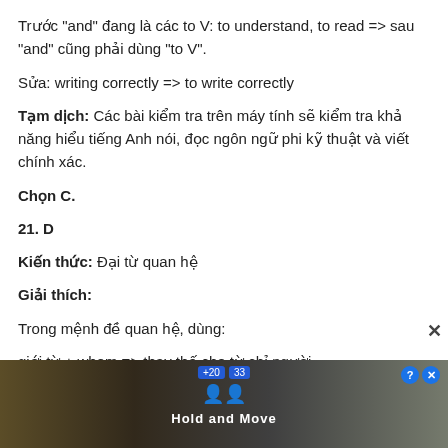Trước "and" đang là các to V: to understand, to read => sau "and" cũng phải dùng "to V".
Sửa: writing correctly => to write correctly
Tạm dịch: Các bài kiểm tra trên máy tính sẽ kiểm tra khả năng hiểu tiếng Anh nói, đọc ngôn ngữ phi kỹ thuật và viết chính xác.
Chọn C.
21. D
Kiến thức: Đại từ quan hệ
Giải thích:
Trong mệnh đề quan hệ, dùng:
giới từ + whom => thay thế cho từ chỉ người
giới từ + which => thay thế cho từ chỉ vật
[Figure (screenshot): Advertisement banner at the bottom of the page showing 'Hold and Move' app with a forest background, blue counter badges showing +20 and 33, a question mark and X button in top right, and people icon in center.]